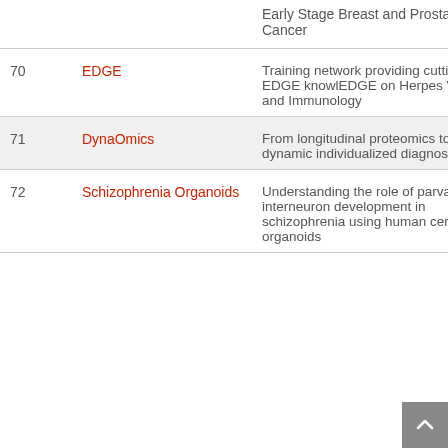| # | Project | Description |
| --- | --- | --- |
|  |  | Early Stage Breast and Prostate Cancer |
| 70 | EDGE | Training network providing cutting-EDGE knowlEDGE on Herpes Virology and Immunology |
| 71 | DynaOmics | From longitudinal proteomics to dynamic individualized diagnostics |
| 72 | Schizophrenia Organoids | Understanding the role of parvalbumin interneuron development in schizophrenia using human cerebral organoids |
|  |  |  |